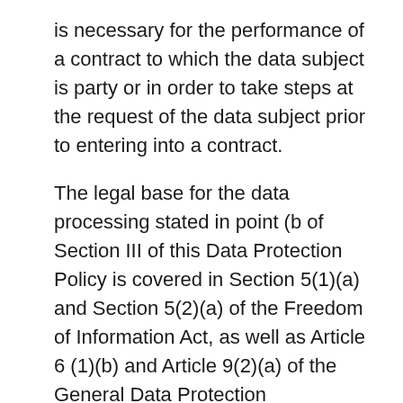is necessary for the performance of a contract to which the data subject is party or in order to take steps at the request of the data subject prior to entering into a contract.
The legal base for the data processing stated in point (b of Section III of this Data Protection Policy is covered in Section 5(1)(a) and Section 5(2)(a) of the Freedom of Information Act, as well as Article 6 (1)(b) and Article 9(2)(a) of the General Data Protection Regulation, meaning that such data processing are happening with your consent.
HOW LONG ARE WE STORING YOUR PERSONAL DATA?